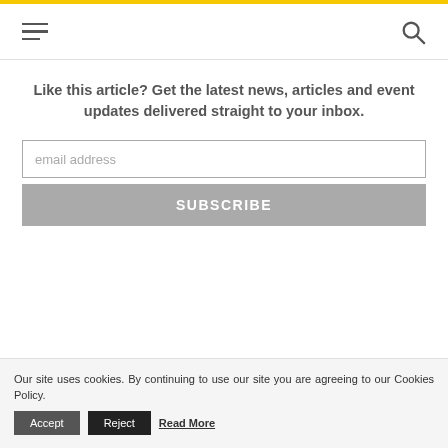Navigation header with hamburger menu and search icon
Like this article? Get the latest news, articles and event updates delivered straight to your inbox.
email address
SUBSCRIBE
Our site uses cookies. By continuing to use our site you are agreeing to our Cookies Policy. Accept Reject Read More